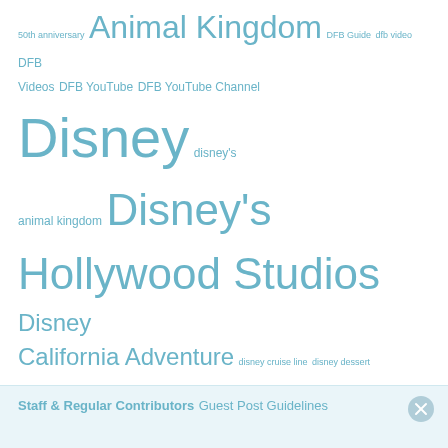50th anniversary Animal Kingdom DFB Guide dfb video DFB Videos DFB YouTube DFB YouTube Channel Disney disney's animal kingdom Disney's Hollywood Studios Disney California Adventure disney cruise line disney dessert disney dining Disney Entertainment disney food Disneyland Disneyland Resort Disney merch Disney merchandise disney news disney parks disney resorts disney snacks disney springs disney treats Disney World Disney World reopening Downtown Disney Epcot halloween Hollywood Studios magic kingdom merchandise reopening review shopdisney shopping Snacks star wars Star Wars: Galaxy's Edge Walt Disney World what's new World of Disney World Showcase
Staff & Regular Contributors
Guest Post Guidelines